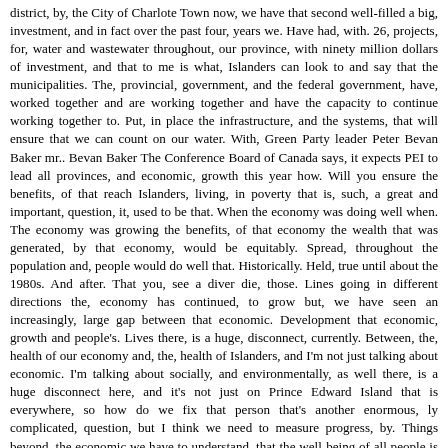district, by, the City of Charlote Town now, we have that second well-filled a big, investment, and in fact over the past four, years we. Have had, with. 26, projects, for, water and wastewater throughout, our province, with ninety million dollars of investment, and that to me is what, Islanders can look to and say that the municipalities. The, provincial, government, and the federal government, have, worked together and are working together and have the capacity to continue working together to. Put, in place the infrastructure, and the systems, that will ensure that we can count on our water. With, Green Party leader Peter Bevan Baker mr.. Bevan Baker The Conference Board of Canada says, it expects PEI to lead all provinces, and economic, growth this year how. Will you ensure the benefits, of that reach Islanders, living, in poverty that is, such, a great and important, question, it, used to be that. When the economy was doing well when. The economy was growing the benefits, of that economy the wealth that was generated, by that economy, would be equitably. Spread, throughout the population and, people would do well that. Historically. Held, true until about the 1980s. And after. That you, see a diver die, those. Lines going in different directions the, economy has continued, to grow but, we have seen an increasingly, large gap between that economic. Development that economic, growth and people's. Lives there, is a huge, disconnect, currently. Between, the, health of our economy and, the, health of Islanders, and I'm not just talking about economic. I'm talking about socially, and environmentally, as well there, is a huge disconnect here, and it's not just on Prince Edward Island that is everywhere, so how do we fix that person that's another enormous, ly complicated, question, but I think we need to measure progress, by. Things beyond, the economic we have to understand, that the well-being of all people is what's most important, we need to create a situation where, the economy works for us not, us working for the economy. Louise. We have to be careful, not to ascribe to Prince Edward Island, the characteristics. Of the economy, of Toronto, or United States or other big capitalist. Corporate. Structures. We have small. Economy. we've got the highest